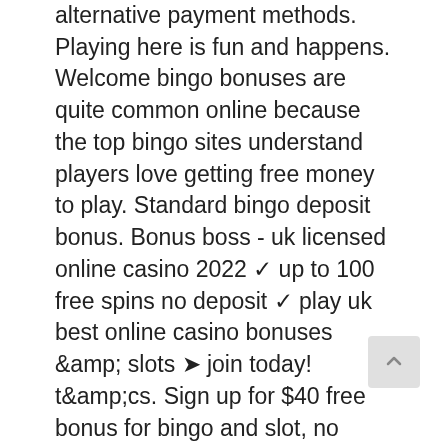alternative payment methods. Playing here is fun and happens. Welcome bingo bonuses are quite common online because the top bingo sites understand players love getting free money to play. Standard bingo deposit bonus. Bonus boss - uk licensed online casino 2022 ✓ up to 100 free spins no deposit ✓ play uk best online casino bonuses &amp; slots ➤ join today! t&amp;cs. Sign up for $40 free bonus for bingo and slot, no deposit are required · make a first deposit of $25 and get 500%. You can enjoy a £10 free no deposit bonus when you join the sun bingo and then claim a further £10 free bingo bonus with your first deposit. Play now and get a 20 free cards – no deposit bonus at bingo fabulouslearn more &gt;. Play £10, get £50 free bingo or 30 free spins at jackpotjoy, where there's a winner every minute! play the best bingo, casino &amp; slot games now (t&amp;cs apply). Only bingo and slot games qualify towards the